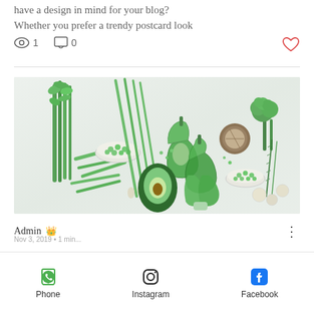have a design in mind for your blog? Whether you prefer a trendy postcard look
[Figure (photo): Flat lay of assorted green vegetables and herbs on white marble surface including celery, green beans, scallions, bell peppers, avocado, broccoli, rosemary, peas and other greens]
Admin
Phone  Instagram  Facebook